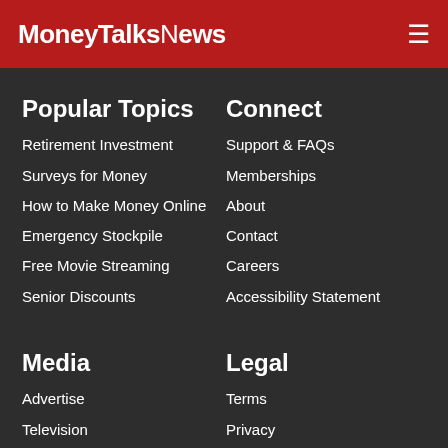MoneyTalksNews
Popular Topics
Retirement Investment
Surveys for Money
How to Make Money Online
Emergency Stockpile
Free Movie Streaming
Senior Discounts
Connect
Support & FAQs
Memberships
About
Contact
Careers
Accessibility Statement
Media
Advertise
Television
Where We Air
Scripts
Legal
Terms
Privacy
Cookies